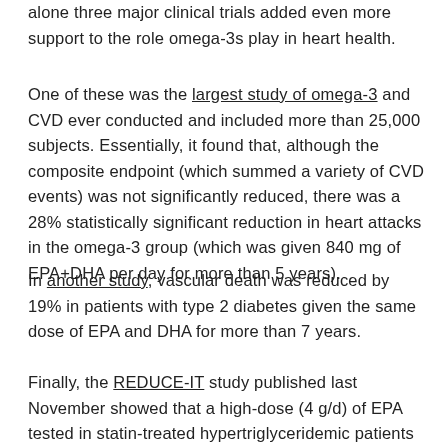alone three major clinical trials added even more support to the role omega-3s play in heart health.
One of these was the largest study of omega-3 and CVD ever conducted and included more than 25,000 subjects. Essentially, it found that, although the composite endpoint (which summed a variety of CVD events) was not significantly reduced, there was a 28% statistically significant reduction in heart attacks in the omega-3 group (which was given 840 mg of EPA+DHA per day for more than 5 years).
In another study, vascular death was reduced by 19% in patients with type 2 diabetes given the same dose of EPA and DHA for more than 7 years.
Finally, the REDUCE-IT study published last November showed that a high-dose (4 g/d) of EPA tested in statin-treated hypertriglyceridemic patients for almost 5...